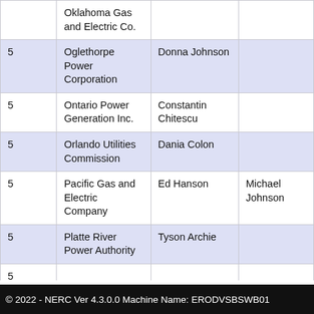|  | Company | Primary Contact | Alternate Contact |
| --- | --- | --- | --- |
|  | Oklahoma Gas and Electric Co. |  |  |
| 5 | Oglethorpe Power Corporation | Donna Johnson |  |
| 5 | Ontario Power Generation Inc. | Constantin Chitescu |  |
| 5 | Orlando Utilities Commission | Dania Colon |  |
| 5 | Pacific Gas and Electric Company | Ed Hanson | Michael Johnson |
| 5 | Platte River Power Authority | Tyson Archie |  |
| 5 | ... | ... |  |
© 2022 - NERC Ver 4.3.0.0 Machine Name: ERODVSBSWB01